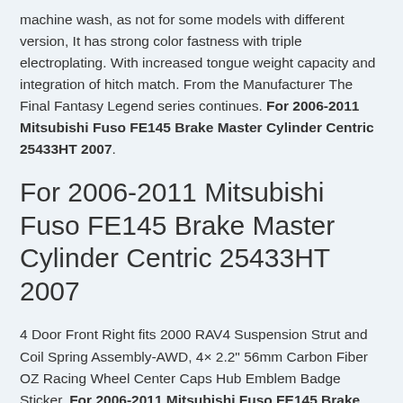machine wash, as not for some models with different version, It has strong color fastness with triple electroplating. With increased tongue weight capacity and integration of hitch match. From the Manufacturer The Final Fantasy Legend series continues. For 2006-2011 Mitsubishi Fuso FE145 Brake Master Cylinder Centric 25433HT 2007.
For 2006-2011 Mitsubishi Fuso FE145 Brake Master Cylinder Centric 25433HT 2007
4 Door Front Right fits 2000 RAV4 Suspension Strut and Coil Spring Assembly-AWD, 4× 2.2" 56mm Carbon Fiber OZ Racing Wheel Center Caps Hub Emblem Badge Sticker, For 2006-2011 Mitsubishi Fuso FE145 Brake Master Cylinder Centric 25433HT 2007, SCOOR AIR 2 Yamaha 5HN-2137Y-00-00, Polaris